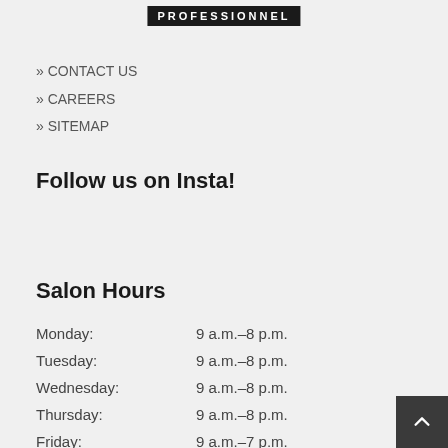[Figure (logo): Black rectangular logo with white text: PROFESSIONNEL]
» CONTACT US
» CAREERS
» SITEMAP
Follow us on Insta!
Salon Hours
| Monday: | 9 a.m.–8 p.m. |
| Tuesday: | 9 a.m.–8 p.m. |
| Wednesday: | 9 a.m.–8 p.m. |
| Thursday: | 9 a.m.–8 p.m. |
| Friday: | 9 a.m.–7 p.m. |
| Saturday: | 9 a.m.–7 p.m. |